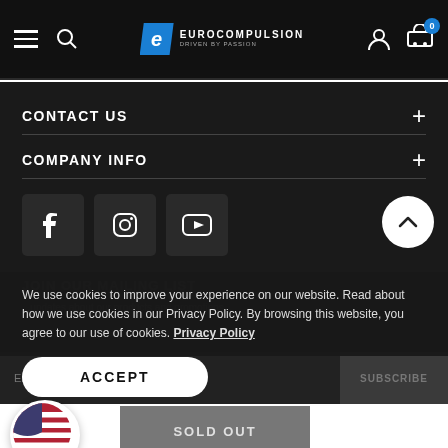[Figure (screenshot): Website navigation bar with hamburger menu, search icon, Eurocompulsion logo, user account icon, and cart icon with badge showing 0]
CONTACT US
COMPANY INFO
[Figure (other): Social media icons: Facebook, Instagram, YouTube]
We use cookies to improve your experience on our website. Read about how we use cookies in our Privacy Policy. By browsing this website, you agree to our use of cookies. Privacy Policy
[Figure (other): ACCEPT button (cookie consent)]
[Figure (other): US flag circle icon and SOLD OUT button]